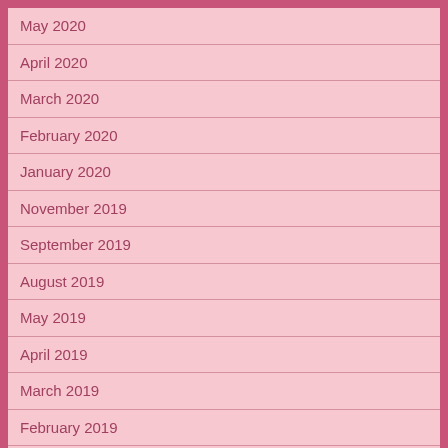May 2020
April 2020
March 2020
February 2020
January 2020
November 2019
September 2019
August 2019
May 2019
April 2019
March 2019
February 2019
January 2019
December 2018
November 2018